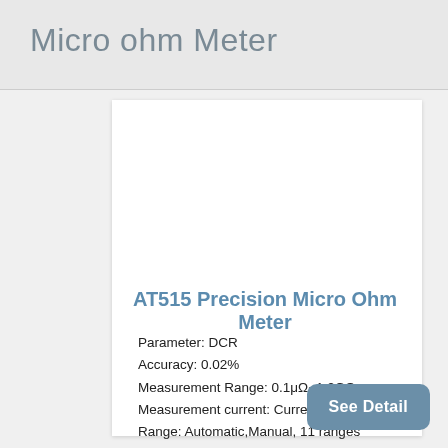Micro ohm Meter
AT515 Precision Micro Ohm Meter
Parameter: DCR
Accuracy: 0.02%
Measurement Range: 0.1μΩ~1.2GΩ
Measurement current: Current: 1μA~1A
Range: Automatic,Manual, 11 ranges
See Detail